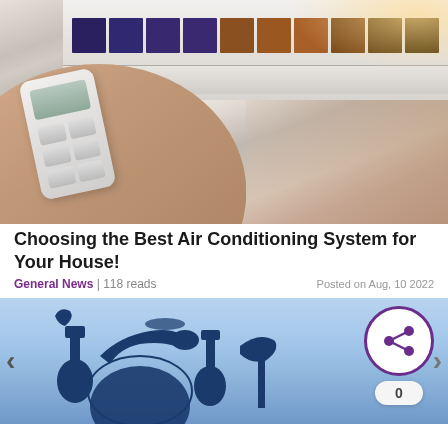[Figure (photo): Person holding a white air conditioning remote control pointed at a wall-mounted AC unit. The AC unit is visible at the top of the image with dark vents. The background is blurred showing warm tones.]
Choosing the Best Air Conditioning System for Your House!
General News | 118 reads
Posted on Aug, 10 2022
[Figure (illustration): Blue background illustration with silhouettes of musical instruments (guitars, brass instruments, globe) in dark blue. Navigation arrows on left and right. A share button with a share icon and count of 0 overlay the image in the bottom right area.]